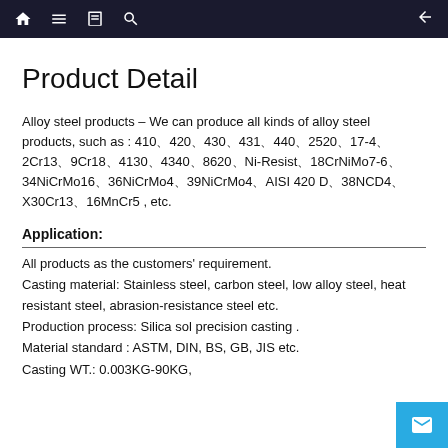Navigation bar with home, menu, book, search, and back icons
Product Detail
Alloy steel products – We can produce all kinds of alloy steel products, such as : 410、420、430、431、440、2520、17-4、2Cr13、9Cr18、4130、4340、8620、Ni-Resist、18CrNiMo7-6、34NiCrMo16、36NiCrMo4、39NiCrMo4、AISI 420 D、38NCD4、X30Cr13、16MnCr5 , etc.
Application:
All products as the customers' requirement.
Casting material: Stainless steel, carbon steel, low alloy steel, heat resistant steel, abrasion-resistance steel etc.
Production process: Silica sol precision casting .
Material standard : ASTM, DIN, BS, GB, JIS etc.
Casting WT.: 0.003KG-90KG,